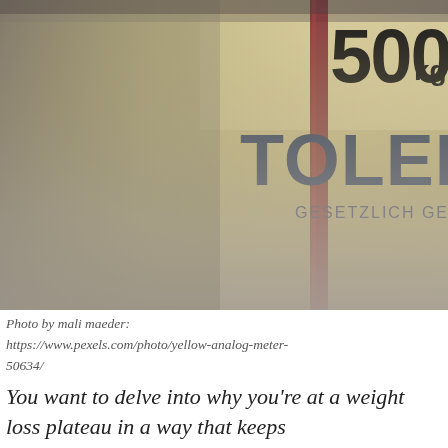[Figure (photo): Close-up photo of a Toledo scale face showing '500 kg' at the top and 'TOLEDO GESETZLICH GESCHÜTZT' text on a yellow/cream background with a dark red vertical stripe and a scale needle visible.]
Photo by mali maeder: https://www.pexels.com/photo/yellow-analog-meter-50634/
You want to delve into why you're at a weight loss plateau in a way that keeps